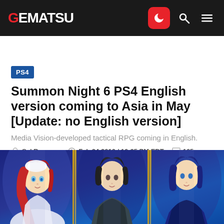GEMATSU
PS4
Summon Night 6 PS4 English version coming to Asia in May [Update: no English version]
Media Vision-developed tactical RPG coming in English.
Sal Romano   Feb 24 2016 / 10:35 PM EDT   105
[Figure (screenshot): Anime-style characters from Summon Night 6 game, showing three characters against a blue/purple background with vertical light streaks]